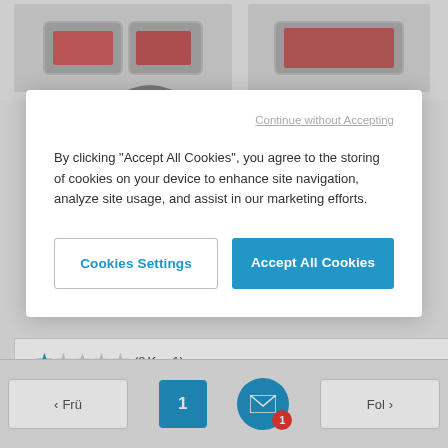[Figure (screenshot): Background product image thumbnails (red devices) partially visible behind cookie modal]
Continue without Accepting
By clicking "Accept All Cookies", you agree to the storing of cookies on your device to enhance site navigation, analyze site usage, and assist in our marketing efforts.
Cookies Settings
Accept All Cookies
★☆☆☆☆ (2 K 1)
CHF 88,29
UP*: N/A
< Frü
1
Fol >